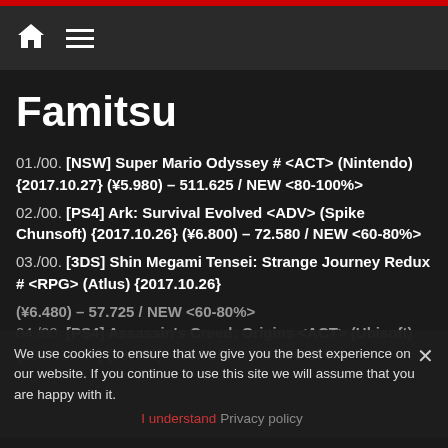Famitsu
Famitsu
01./00. [NSW] Super Mario Odyssey # <ACT> (Nintendo) {2017.10.27} (¥5.980) – 511.625 / NEW <80-100%>
02./00. [PS4] Ark: Survival Evolved <ADV> (Spike Chunsoft) {2017.10.26} (¥6.800) – 72.580 / NEW <60-80%>
03./00. [3DS] Shin Megami Tensei: Strange Journey Redux # <RPG> (Atlus) {2017.10.26} (¥6.480) – 57.725 / NEW <60-80%>
04./00. [PS4] Assassin's Creed: Origins <ACT> (Ubisoft) {2017.10.27} (¥8.400) – 53.716 / NEW <60-80%>
We use cookies to ensure that we give you the best experience on our website. If you continue to use this site we will assume that you are happy with it.
I understand  Privacy policy